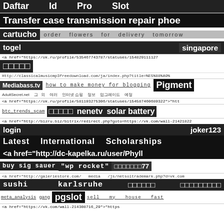Daftar Id Pro Slot
Transfer case transmission repair phoe
cartucho   order flowers for delivery tomorrow
togel   singapore
<a href="https://ok.ru/profile/535467743787/statuses/154829111127
□□□□□
Http://classicalmusicmp3freedownload.com/ja/index.php?title=%E5%88%A9%
Mediabass.tv   how to make money for blogging   Pigment
AdultSecret.net   그 외 여러 인터넷 쇼핑 정보 업그레이드 예정
<a href="https://ok.ru/profile/581193275306/statuses/154587460689322">"htt
btc trends scam   □□□□□   nenetv   solar battery
<a href="http://bizru.biz/bitrix/redirect.php?goto=https://vk.com/wall-214218228
login   joker123
Latest International Scholarships
<a href="http://dc-kapelka.ru/user/Phyll
buy sig sauer   "wp rocket"   □□□□□□□77
<a href="http://galeriestore.com/ media /js/netsoltrademark.php?d=vk.com
sushi karlsruhe   □□□□□□   □□□□□□□□□
meta analysis   gang   pgslot   sell my house fast
<a href="https://vk.com/wall-214308716_29">"https